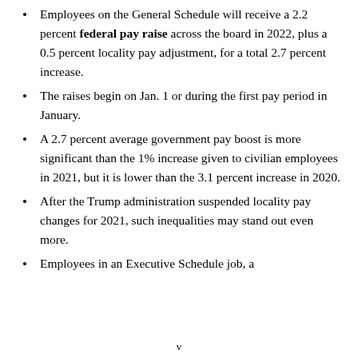Employees on the General Schedule will receive a 2.2 percent federal pay raise across the board in 2022, plus a 0.5 percent locality pay adjustment, for a total 2.7 percent increase.
The raises begin on Jan. 1 or during the first pay period in January.
A 2.7 percent average government pay boost is more significant than the 1% increase given to civilian employees in 2021, but it is lower than the 3.1 percent increase in 2020.
After the Trump administration suspended locality pay changes for 2021, such inequalities may stand out even more.
Employees in an Executive Schedule job, a
v